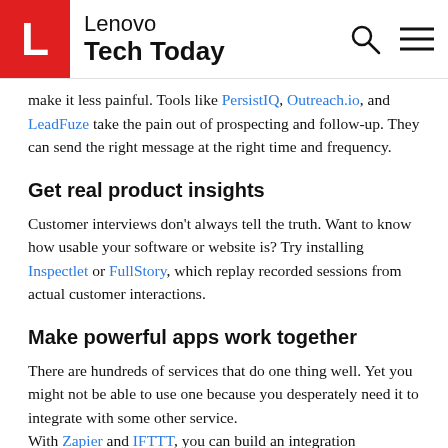Lenovo Tech Today
make it less painful. Tools like PersistIQ, Outreach.io, and LeadFuze take the pain out of prospecting and follow-up. They can send the right message at the right time and frequency.
Get real product insights
Customer interviews don't always tell the truth. Want to know how usable your software or website is? Try installing Inspectlet or FullStory, which replay recorded sessions from actual customer interactions.
Make powerful apps work together
There are hundreds of services that do one thing well. Yet you might not be able to use one because you desperately need it to integrate with some other service. With Zapier and IFTTT, you can build an integration